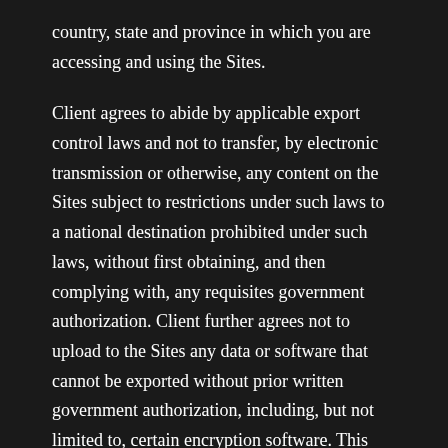country, state and province in which you are accessing and using the Sites.
Client agrees to abide by applicable export control laws and not to transfer, by electronic transmission or otherwise, any content on the Sites subject to restrictions under such laws to a national destination prohibited under such laws, without first obtaining, and then complying with, any requisites government authorization. Client further agrees not to upload to the Sites any data or software that cannot be exported without prior written government authorization, including, but not limited to, certain encryption software. This assurance and commitment shall survive termination of these Terms and Conditions. Offices, residents and operations of your organization in Cuba, Iran, Iraq, Libya, North Korea, Sudan,